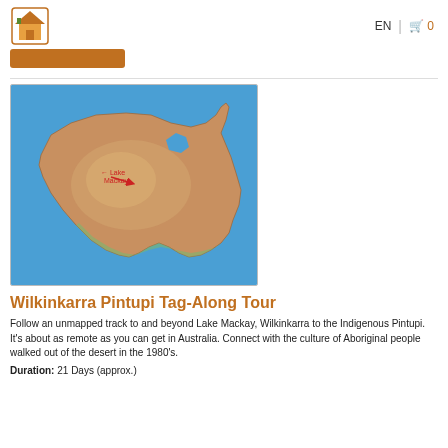EN  0
[Figure (map): Satellite map of Australia with a red arrow pointing to Lake Mackay (Wilkinkarra) in the centre-west of the continent]
Wilkinkarra Pintupi Tag-Along Tour
Follow an unmapped track to and beyond Lake Mackay, Wilkinkarra to the Indigenous Pintupi. It's about as remote as you can get in Australia. Connect with the culture of Aboriginal people walked out of the desert in the 1980's.
Duration: 21 Days (approx.)